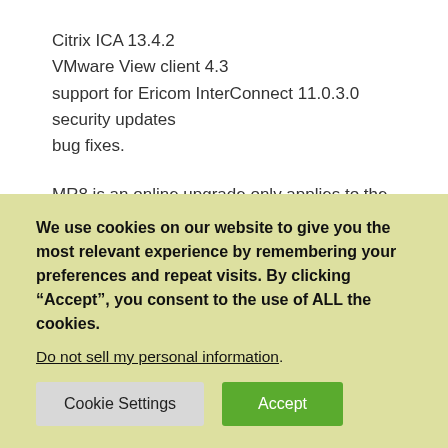Citrix ICA 13.4.2
VMware View client 4.3
support for Ericom InterConnect 11.0.3.0
security updates
bug fixes.
MR8 is an online upgrade only applies to the following Wyse Linux thin clients:
Wyse 5010 thin client with Linux (D50D)
We use cookies on our website to give you the most relevant experience by remembering your preferences and repeat visits. By clicking “Accept”, you consent to the use of ALL the cookies.
Do not sell my personal information.